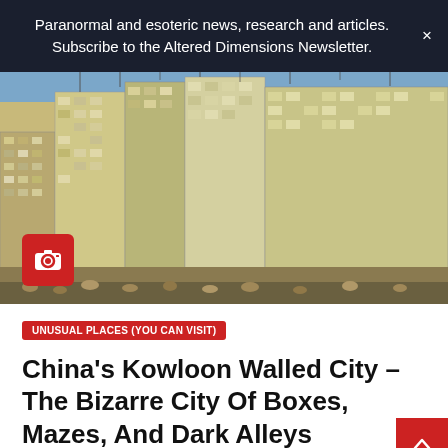Paranormal and esoteric news, research and articles. Subscribe to the Altered Dimensions Newsletter.
[Figure (photo): Dense cluster of high-rise apartment buildings in Kowloon Walled City, packed tightly together with numerous floors, balconies, and signage. Blue sky visible at the top. A red camera icon badge appears at the bottom-left of the image.]
UNUSUAL PLACES (YOU CAN VISIT)
China's Kowloon Walled City – The Bizarre City Of Boxes, Mazes, And Dark Alleys